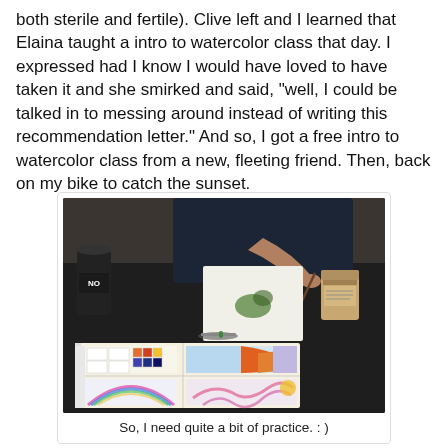both sterile and fertile). Clive left and I learned that Elaina taught a intro to watercolor class that day. I expressed had I know I would have loved to have taken it and she smirked and said, "well, I could be talked in to messing around instead of writing this recommendation letter." And so, I got a free intro to watercolor class from a new, fleeting friend. Then, back on my bike to catch the sunset.
[Figure (photo): A person painting with watercolors at a dark table. There are watercolor paint palettes, cans/jars, a paintbrush, and watercolor paintings on a spiral sketchbook showing colorful nature scenes with rainbows, trees, and abstract shapes.]
So, I need quite a bit of practice. : )